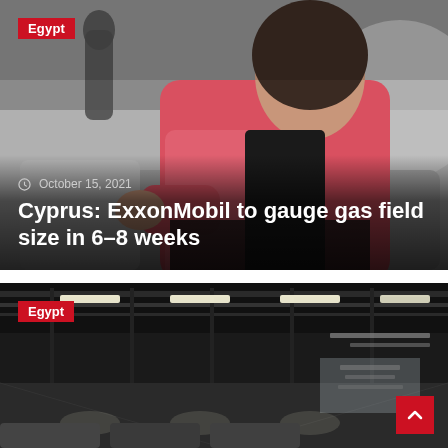[Figure (photo): Woman in pink blazer seated on gray sofa, with Egyptian statue in background, news article card with red Egypt tag badge]
Egypt
October 15, 2021
Cyprus: ExxonMobil to gauge gas field size in 6-8 weeks
[Figure (photo): Underground parking garage or tunnel with lights, Egypt tag badge, news article card]
Egypt